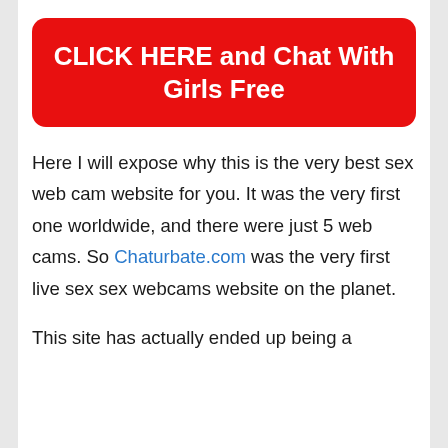[Figure (other): Red rounded rectangle button with white bold text: CLICK HERE and Chat With Girls Free]
Here I will expose why this is the very best sex web cam website for you. It was the very first one worldwide, and there were just 5 web cams. So Chaturbate.com was the very first live sex sex webcams website on the planet.
This site has actually ended up being a